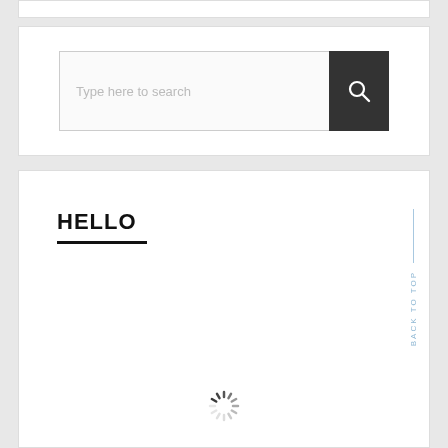[Figure (screenshot): Search bar widget with placeholder text 'Type here to search' and a dark search button with magnifying glass icon]
HELLO
[Figure (other): Loading spinner (circular progress indicator) at the bottom of the HELLO section. Vertical 'BACK TO TOP' text on the right side with a blue vertical line above it.]